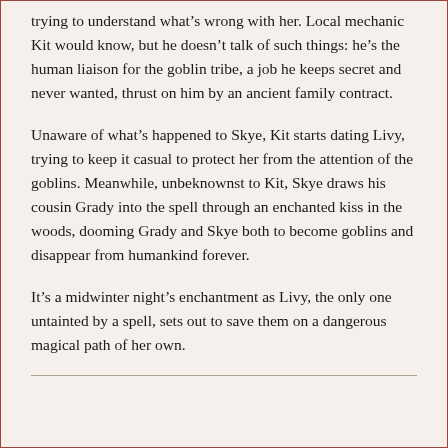trying to understand what’s wrong with her. Local mechanic Kit would know, but he doesn’t talk of such things: he’s the human liaison for the goblin tribe, a job he keeps secret and never wanted, thrust on him by an ancient family contract.
Unaware of what’s happened to Skye, Kit starts dating Livy, trying to keep it casual to protect her from the attention of the goblins. Meanwhile, unbeknownst to Kit, Skye draws his cousin Grady into the spell through an enchanted kiss in the woods, dooming Grady and Skye both to become goblins and disappear from humankind forever.
It’s a midwinter night’s enchantment as Livy, the only one untainted by a spell, sets out to save them on a dangerous magical path of her own.